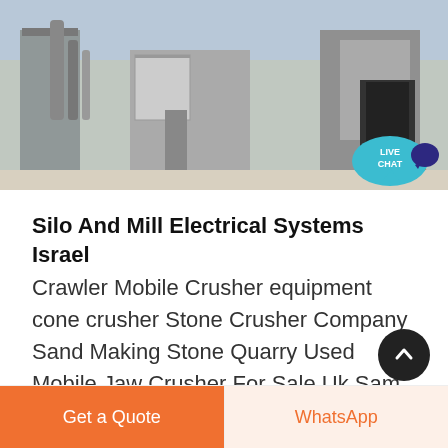[Figure (photo): Industrial facility exterior showing a quarry or stone crushing plant with pipes, conveyor structures, buildings, and orange traffic cones visible in the foreground.]
Silo And Mill Electrical Systems Israel
Crawler Mobile Crusher equipment cone crusher Stone Crusher Company Sand Making Stone Quarry Used Mobile Jaw Crusher For Sale Uk Sam Crushers Raymond Which Company Make Crusher In India 9555 crusher supplier europ tree grinder and rock crusher Crusher Plant For Rent In Malaysia Mobile Crusher Manufacturer Stone Crusher Units In An